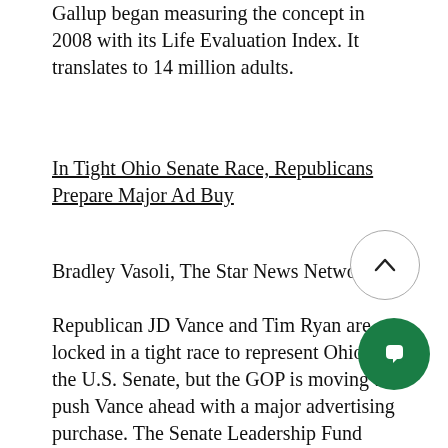Gallup began measuring the concept in 2008 with its Life Evaluation Index. It translates to 14 million adults.
In Tight Ohio Senate Race, Republicans Prepare Major Ad Buy
Bradley Vasoli, The Star News Network
Republican JD Vance and Tim Ryan are locked in a tight race to represent Ohio in the U.S. Senate, but the GOP is moving to push Vance ahead with a major advertising purchase. The Senate Leadership Fund (SLF) announced Thursday it will buy $[amount] million worth of broadcast ads to air across the Buckeye State beginning on Labor Day. National Republican organizations have spent only about $[amount] million to Ohio for about